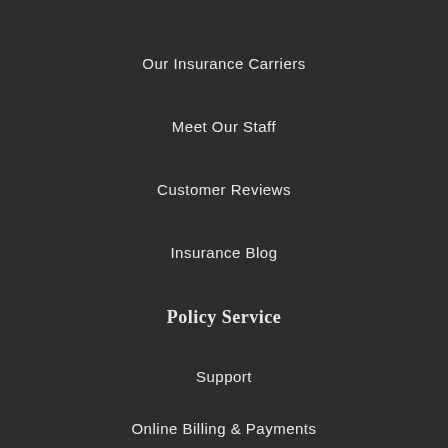Our Insurance Carriers
Meet Our Staff
Customer Reviews
Insurance Blog
Policy Service
Support
Online Billing & Payments